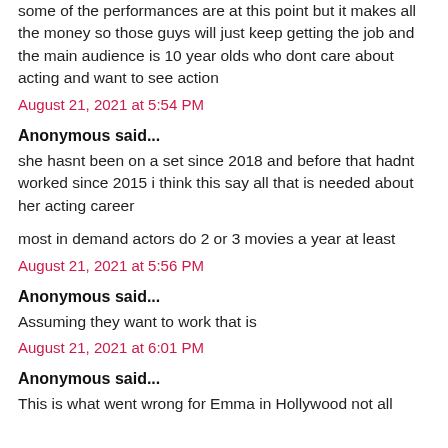some of the performances are at this point but it makes all the money so those guys will just keep getting the job and the main audience is 10 year olds who dont care about acting and want to see action
August 21, 2021 at 5:54 PM
Anonymous said...
she hasnt been on a set since 2018 and before that hadnt worked since 2015 i think this say all that is needed about her acting career
most in demand actors do 2 or 3 movies a year at least
August 21, 2021 at 5:56 PM
Anonymous said...
Assuming they want to work that is
August 21, 2021 at 6:01 PM
Anonymous said...
This is what went wrong for Emma in Hollywood not all